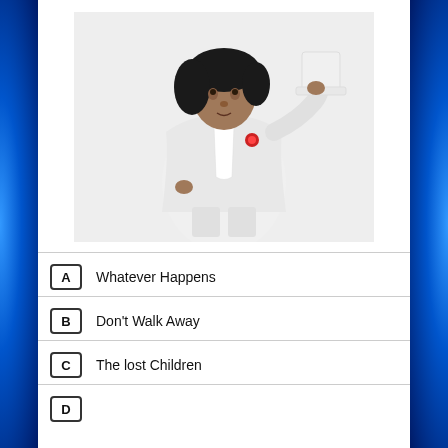[Figure (photo): Person dressed in white tuxedo/suit holding a white top hat, with curly black hair, posing against a white background with a red flower on lapel]
A  Whatever Happens
B  Don't Walk Away
C  The lost Children
D  (partially visible)